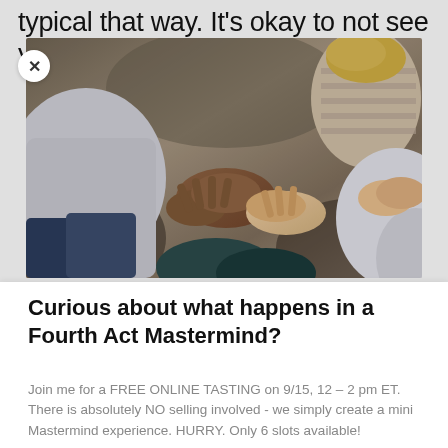typical that way. It’s okay to not see your family for a year in Germany.
[Figure (photo): Group of people sitting in a circle with hands gesturing, a discussion or mastermind group setting]
Curious about what happens in a Fourth Act Mastermind?
Join me for a FREE ONLINE TASTING on 9/15, 12 – 2 pm ET. There is absolutely NO selling involved - we simply create a mini Mastermind experience. HURRY. Only 6 slots available!